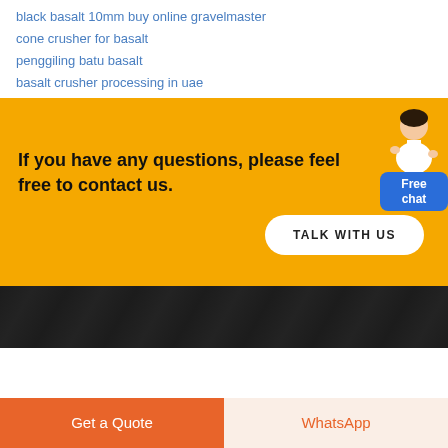black basalt 10mm buy online gravelmaster
cone crusher for basalt
penggiling batu basalt
basalt crusher processing in uae
If you have any questions, please feel free to contact us.
TALK WITH US
Get a Quote
WhatsApp